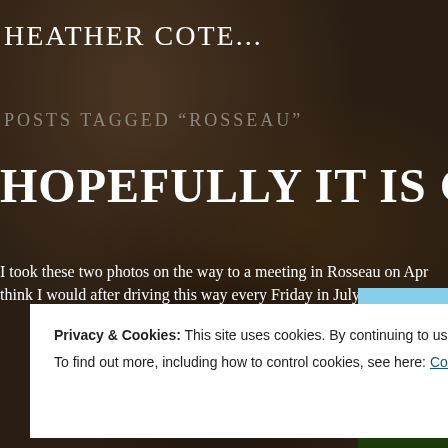HEATHER COTE...
POSTS TAGGED “ROSSEAU”
HOPEFULLY IT IS GONE!
I took these two photos on the way to a meeting in Rosseau on Apr... think I would after driving this way every Friday in July and August...
Privacy & Cookies: This site uses cookies. By continuing to use this website, you agree to their use.
To find out more, including how to control cookies, see here: Cookie Policy
[Close and accept]